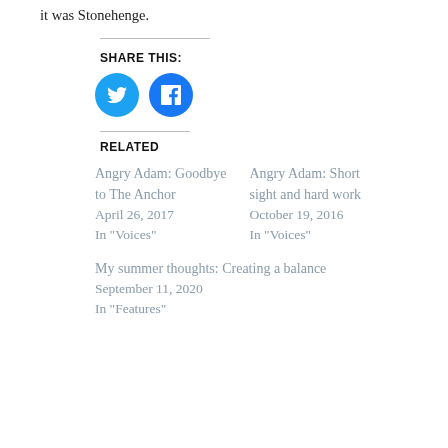it was Stonehenge.
SHARE THIS:
[Figure (illustration): Twitter and Facebook social share buttons as circular blue icons]
RELATED
Angry Adam: Goodbye to The Anchor
April 26, 2017
In "Voices"
Angry Adam: Short sight and hard work
October 19, 2016
In "Voices"
My summer thoughts: Creating a balance
September 11, 2020
In "Features"